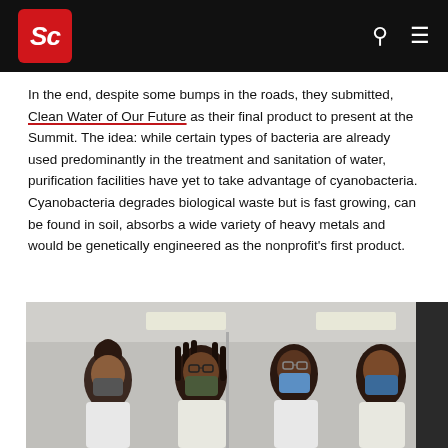Sc [Science logo]
In the end, despite some bumps in the roads, they submitted, Clean Water of Our Future as their final product to present at the Summit. The idea: while certain types of bacteria are already used predominantly in the treatment and sanitation of water, purification facilities have yet to take advantage of cyanobacteria. Cyanobacteria degrades biological waste but is fast growing, can be found in soil, absorbs a wide variety of heavy metals and would be genetically engineered as the nonprofit's first product.
[Figure (photo): Group photo of four young people wearing face masks in what appears to be a lab or classroom setting]